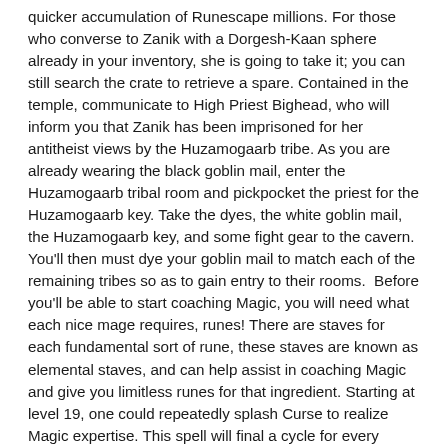quicker accumulation of Runescape millions. For those who converse to Zanik with a Dorgesh-Kaan sphere already in your inventory, she is going to take it; you can still search the crate to retrieve a spare. Contained in the temple, communicate to High Priest Bighead, who will inform you that Zanik has been imprisoned for her antitheist views by the Huzamogaarb tribe. As you are already wearing the black goblin mail, enter the Huzamogaarb tribal room and pickpocket the priest for the Huzamogaarb key. Take the dyes, the white goblin mail, the Huzamogaarb key, and some fight gear to the cavern. You'll then must dye your goblin mail to match each of the remaining tribes so as to gain entry to their rooms.  Before you'll be able to start coaching Magic, you will need what each nice mage requires, runes! There are staves for each fundamental sort of rune, these staves are known as elemental staves, and can help assist in coaching Magic and give you limitless runes for that ingredient. Starting at level 19, one could repeatedly splash Curse to realize Magic expertise. This spell will final a cycle for every Magic level the player has at the time. When the Mark of Darkness's impact wears off, a brand new animation plays, reminding the player to reapply the spell. Every spell requires not less than one type of rune, and lots of spells require three and typically even four different types of runes to cast. For further crafting expertise one can add a cave goblin wire to a light orb. Crack open a minimum